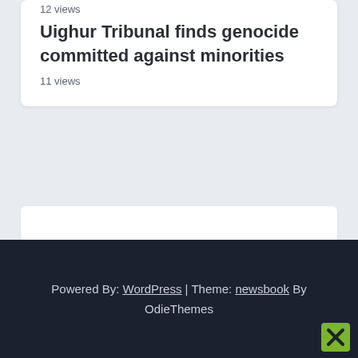12 views
Uighur Tribunal finds genocide committed against minorities
11 views
Powered By: WordPress | Theme: newsbook By OdieThemes